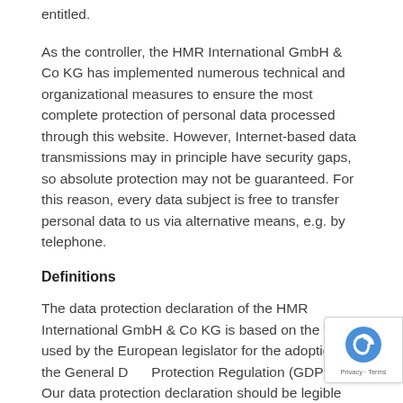entitled.
As the controller, the HMR International GmbH & Co KG has implemented numerous technical and organizational measures to ensure the most complete protection of personal data processed through this website. However, Internet-based data transmissions may in principle have security gaps, so absolute protection may not be guaranteed. For this reason, every data subject is free to transfer personal data to us via alternative means, e.g. by telephone.
Definitions
The data protection declaration of the HMR International GmbH & Co KG is based on the terms used by the European legislator for the adoption of the General Data Protection Regulation (GDPR). Our data protection declaration should be legible and understandable for the